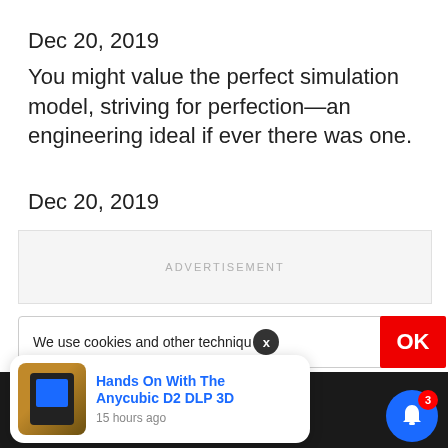Dec 20, 2019
You might value the perfect simulation model, striving for perfection—an engineering ideal if ever there was one.
Dec 20, 2019
ADVERTISEMENT
We use cookies and other techniqu
[Figure (screenshot): Cookie consent bar with X dismiss button and red OK button]
[Figure (screenshot): Notification popup: 'Hands On With The Anycubic D2 DLP 3D', 15 hours ago, with product image and blue bell icon with badge 3]